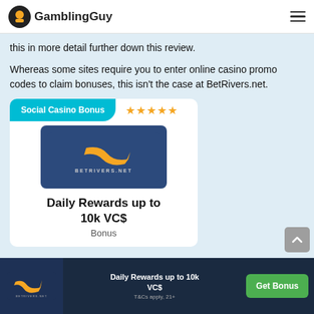GamblingGuy
this in more detail further down this review.
Whereas some sites require you to enter online casino promo codes to claim bonuses, this isn't the case at BetRivers.net.
[Figure (infographic): Social Casino Bonus card with 5-star rating, BetRivers.net logo on dark blue background, text 'Daily Rewards up to 10k VC$', subtitle 'Bonus']
Daily Rewards up to 10k VC$ | T&Cs apply, 21+ | Get Bonus